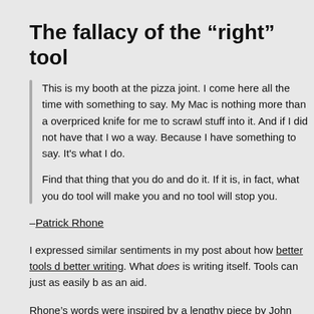The fallacy of the “right” tool
This is my booth at the pizza joint. I come here all the time with something to say. My Mac is nothing more than a overpriced knife for me to scrawl stuff into it. And if I did not have that I would find a way. Because I have something to say. It’s what I do.

Find that thing that you do and do it. If it is, in fact, what you do, no tool will make you and no tool will stop you.
–Patrick Rhone
I expressed similar sentiments in my post about how better tools don’t make better writing. What does is writing itself. Tools can just as easily be a hindrance as an aid.
Rhone’s words were inspired by a lengthy piece by John Carey, which is, in part, about how the act of writing has been adulterated: